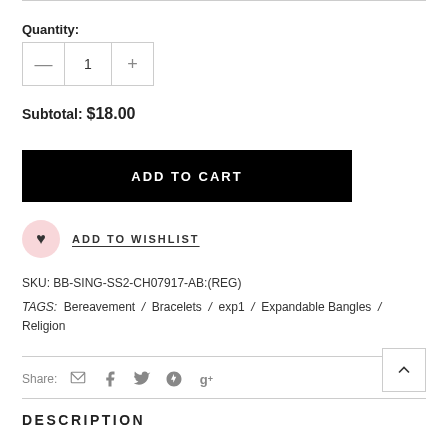Quantity:
1
Subtotal: $18.00
ADD TO CART
ADD TO WISHLIST
SKU: BB-SING-SS2-CH07917-AB:(REG)
TAGS: Bereavement / Bracelets / exp1 / Expandable Bangles / Religion
Share:
DESCRIPTION